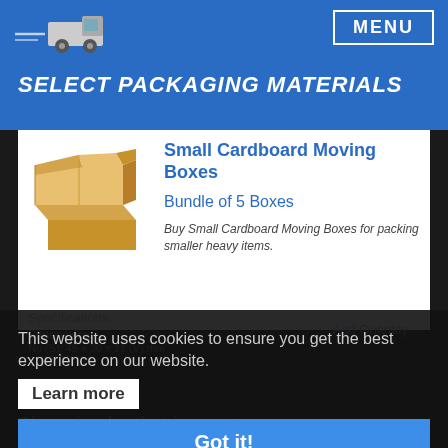SELECT PACKAGING MATERIALS
[Figure (logo): Moving truck logo with speed lines]
SELECT PACKAGING MATERIALS
[Figure (photo): Small cardboard moving boxes stacked]
Small Cardboard Moving Boxes
Bundle of 5 Boxes
Buy Small Cardboard Moving Boxes for packing smaller heavy items.
Dimensions:
No (S): 45 x 30 x 11 (V) mm
x 305 (H) mm
price per box
Add Quantity
Specifications:
This website uses cookies to ensure you get the best experience on our website.
Learn more
Got it!
Shopping basket is empty